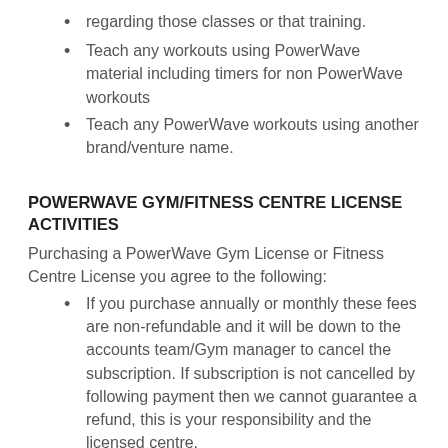regarding those classes or that training.
Teach any workouts using PowerWave material including timers for non PowerWave workouts
Teach any PowerWave workouts using another brand/venture name.
POWERWAVE GYM/FITNESS CENTRE LICENSE ACTIVITIES
Purchasing a PowerWave Gym License or Fitness Centre License you agree to the following:
If you purchase annually or monthly these fees are non-refundable and it will be down to the accounts team/Gym manager to cancel the subscription. If subscription is not cancelled by following payment then we cannot guarantee a refund, this is your responsibility and the licensed centre.
Cannot purchase PowerWaves to sell